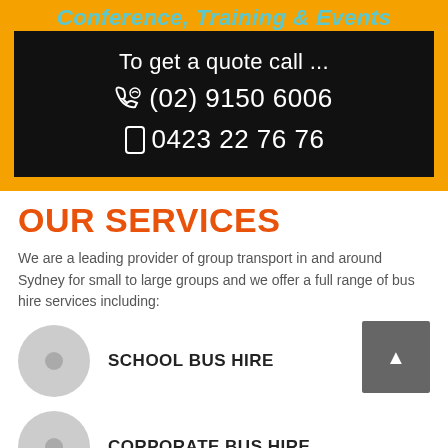Conference, Training & Events
To get a quote call ...
☎(02) 9150 6006
☐0423 22 76 76
OUR SERVICES
We are a leading provider of group transport in and around Sydney for small to large groups and we offer a full range of bus hire services including:
SCHOOL BUS HIRE
CORPORATE BUS HIRE